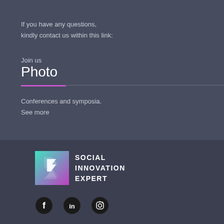If you have any questions,
kindly contact us within this link:
Join us
Photo
Conferences and symposia.
See more
[Figure (logo): Social Innovation Expert logo with gradient S icon and text SOCIAL INNOVATION EXPERT]
[Figure (infographic): Social media icons: Facebook, LinkedIn, Instagram]